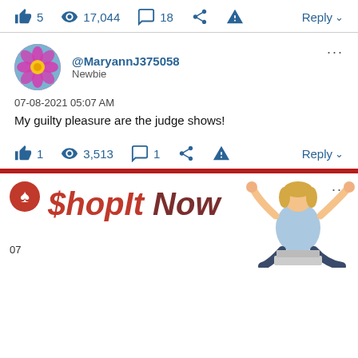5  17,044  18  Reply
[Figure (screenshot): User profile: @MaryannJ375058, Newbie, avatar is a pink flower]
07-08-2021 05:07 AM
My guilty pleasure are the judge shows!
1  3,513  1  Reply
[Figure (illustration): ShopIt Now advertisement banner with bold red-pink italic text and a woman celebrating with arms raised, seated with a laptop]